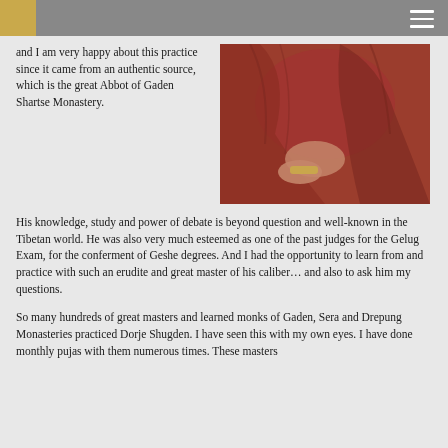and I am very happy about this practice since it came from an authentic source, which is the great Abbot of Gaden Shartse Monastery. His knowledge, study and power of debate is beyond question and well-known in the Tibetan world. He was also very much esteemed as one of the past judges for the Gelug Exam, for the conferment of Geshe degrees. And I had the opportunity to learn from and practice with such an erudite and great master of his caliber… and also to ask him my questions.
[Figure (photo): A person wearing dark red/maroon robes, seated, with gold jewelry visible on wrist and hand]
So many hundreds of great masters and learned monks of Gaden, Sera and Drepung Monasteries practiced Dorje Shugden. I have seen this with my own eyes. I have done monthly pujas with them numerous times. These masters